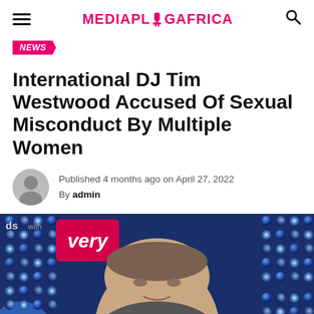MEDIAPLOGAFRICA
NEWS
International DJ Tim Westwood Accused Of Sexual Misconduct By Multiple Women
Published 4 months ago on April 27, 2022
By admin
[Figure (photo): Photo of DJ Tim Westwood standing in front of a blue sequined backdrop with a pink 'very' branded sign. He is a bald/close-cropped white male looking at the camera.]